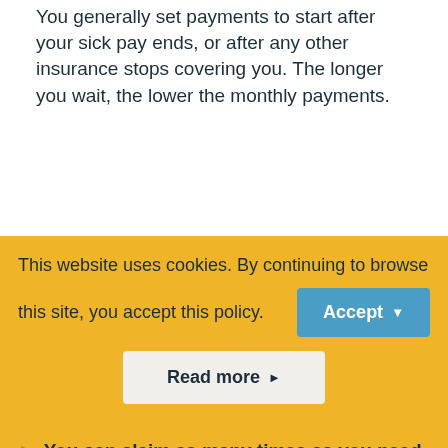You generally set payments to start after your sick pay ends, or after any other insurance stops covering you. The longer you wait, the lower the monthly payments.
It covers most illnesses that leave you unable to work
In many cases this is based on your normal occupation, rather than the ability to do any work whatsoever.
You can claim as many times as you need to
This website uses cookies. By continuing to browse this site, you accept this policy.
Accept
Read more